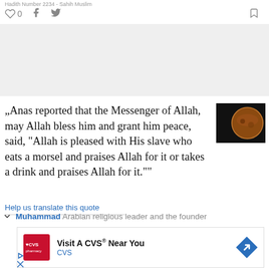Hadith Number 2234 - Sahih Muslim
♡ 0   f   🐦   🔖
[Figure (photo): Gray banner/ad area]
„Anas reported that the Messenger of Allah, may Allah bless him and grant him peace, said, "Allah is pleased with His slave who eats a morsel and praises Allah for it or takes a drink and praises Allah for it.""
[Figure (photo): Small dark circular image, possibly a planet or coin]
Help us translate this quote
Muhammad Arabian religious leader and the founder
[Figure (other): CVS pharmacy advertisement: Visit A CVS® Near You, CVS]